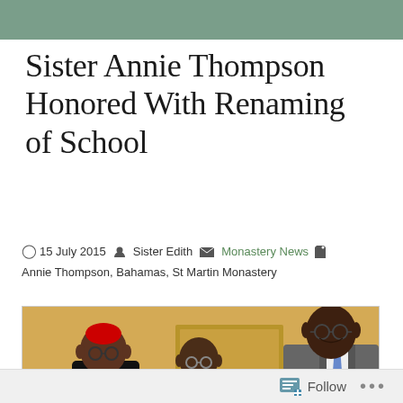Sister Annie Thompson Honored With Renaming of School
15 July 2015   Sister Edith   Monastery News   Annie Thompson, Bahamas, St Martin Monastery
[Figure (photo): Three people posing together indoors against a yellow/tan wall. On the left is a bishop wearing a black cassock and red zucchetto. In the center is a shorter person wearing glasses. On the right is a tall man in a grey suit with a blue tie. They appear to be holding a framed certificate or plaque.]
Follow